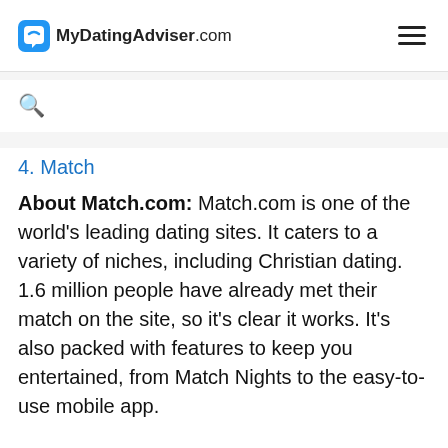MyDatingAdviser.com
4. Match
About Match.com: Match.com is one of the world's leading dating sites. It caters to a variety of niches, including Christian dating. 1.6 million people have already met their match on the site, so it's clear it works. It's also packed with features to keep you entertained, from Match Nights to the easy-to-use mobile app.